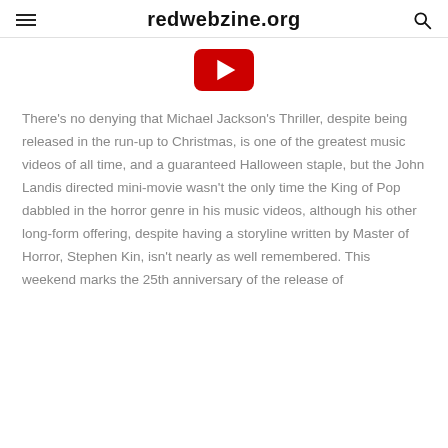redwebzine.org
[Figure (logo): YouTube play button logo in red with white triangle]
There’s no denying that Michael Jackson’s Thriller, despite being released in the run-up to Christmas, is one of the greatest music videos of all time, and a guaranteed Halloween staple, but the John Landis directed mini-movie wasn’t the only time the King of Pop dabbled in the horror genre in his music videos, although his other long-form offering, despite having a storyline written by Master of Horror, Stephen Kin, isn’t nearly as well remembered. This weekend marks the 25th anniversary of the release of